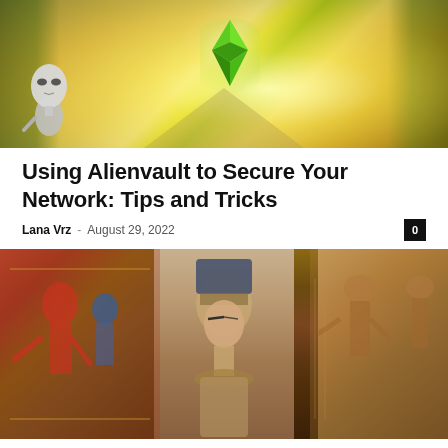[Figure (illustration): Illustrated scene with an alien figure on the left, a large green Ethereum diamond logo in the center glowing brightly, golden field background with trees on either side and a bright light source behind the logo.]
Using Alienvault to Secure Your Network: Tips and Tricks
Lana Vrz – August 29, 2022
[Figure (photo): Composite photo of ancient Egyptian imagery: colorful painting of Egyptian figures on the left, Nefertiti bust in the center, and Egyptian wall relief art on the right.]